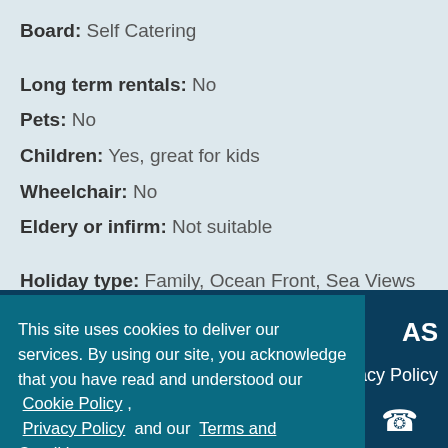Board: Self Catering
Long term rentals: No
Pets: No
Children: Yes, great for kids
Wheelchair: No
Eldery or infirm: Not suitable
Holiday type: Family, Ocean Front, Sea Views
This site uses cookies to deliver our services. By using our site, you acknowledge that you have read and understood our Cookie Policy , Privacy Policy and our Terms and Conditions . Your use of this website is subject to these policies and terms.
Got it!
AS  Privacy Policy